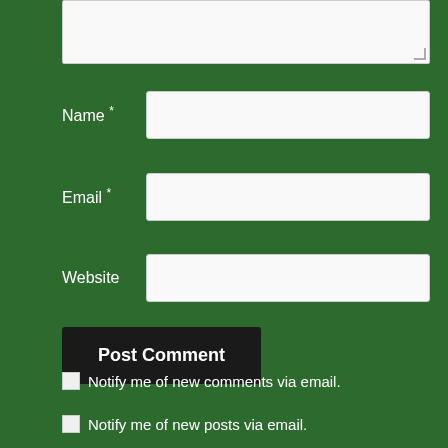[Figure (screenshot): Top portion of a comment form textarea input box, partially visible at the top of the page, with a resize handle in the bottom-right corner]
Name *
[Figure (screenshot): Text input field for Name]
Email *
[Figure (screenshot): Text input field for Email]
Website
[Figure (screenshot): Text input field for Website]
Post Comment
Notify me of new comments via email.
Notify me of new posts via email.